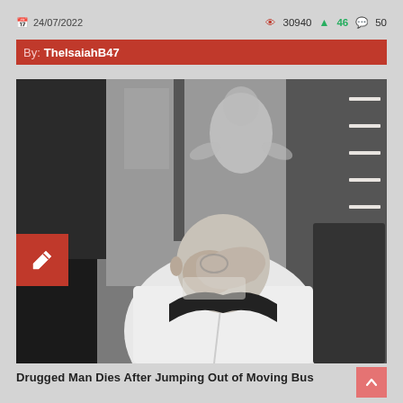📅 24/07/2022   👁 30940 ↑46 💬 50
By: TheIsaiahB47
[Figure (photo): Black and white CCTV/security camera footage showing the interior of a bus. In the foreground, an elderly bald man wearing a white jacket is seated and appears to be covering his face with his hand. In the background, a shirtless person stands near the bus door area.]
Drugged Man Dies After Jumping Out of Moving Bus